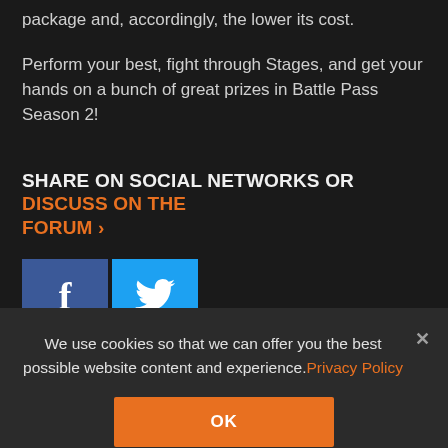package and, accordingly, the lower its cost.
Perform your best, fight through Stages, and get your hands on a bunch of great prizes in Battle Pass Season 2!
SHARE ON SOCIAL NETWORKS OR DISCUSS ON THE FORUM >
[Figure (other): Facebook and Twitter share buttons]
< Previous   Next >
We use cookies so that we can offer you the best possible website content and experience. Privacy Policy
OK